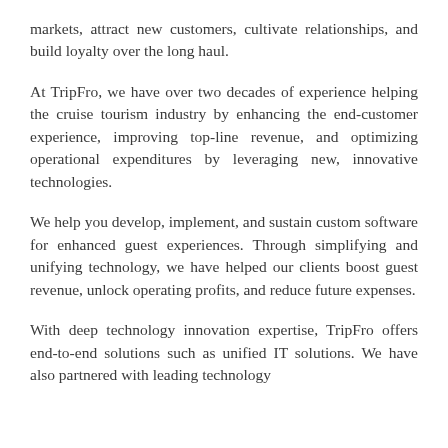markets, attract new customers, cultivate relationships, and build loyalty over the long haul.
At TripFro, we have over two decades of experience helping the cruise tourism industry by enhancing the end-customer experience, improving top-line revenue, and optimizing operational expenditures by leveraging new, innovative technologies.
We help you develop, implement, and sustain custom software for enhanced guest experiences. Through simplifying and unifying technology, we have helped our clients boost guest revenue, unlock operating profits, and reduce future expenses.
With deep technology innovation expertise, TripFro offers end-to-end solutions such as unified IT solutions. We have also partnered with leading technology